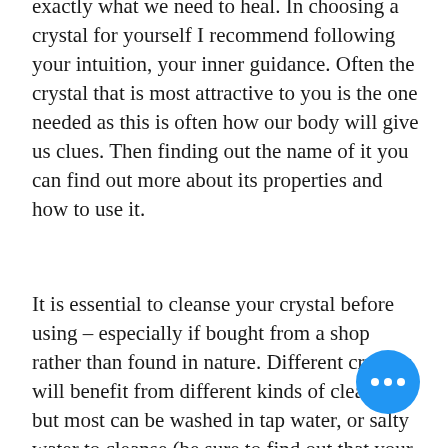exactly what we need to heal. In choosing a crystal for yourself I recommend following your intuition, your inner guidance. Often the crystal that is most attractive to you is the one needed as this is often how our body will give us clues. Then finding out the name of it you can find out more about its properties and how to use it.
It is essential to cleanse your crystal before using – especially if bought from a shop rather than found in nature. Different crystals will benefit from different kinds of cleaning, but most can be washed in tap water, or salty water to cleanse (be sure to find out that your crystal is not salt based a... will dissolve!). Crystals can be charged...
[Figure (other): Blue circular floating action button with three white dots (ellipsis) in the center, positioned in the lower right area of the page.]